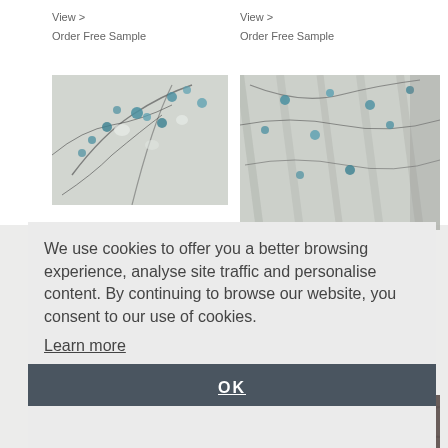View >
Order Free Sample
View >
Order Free Sample
[Figure (photo): Floral fabric with teal flowers on grey/white background, draped or flat]
[Figure (photo): Floral fabric with teal flowers on grey/white background, folded/stacked]
We use cookies to offer you a better browsing experience, analyse site traffic and personalise content. By continuing to browse our website, you consent to our use of cookies.
Learn more
OK
[Figure (photo): Dark patterned fabric, partially visible at bottom left]
[Figure (photo): Dark patterned fabric, partially visible at bottom right]